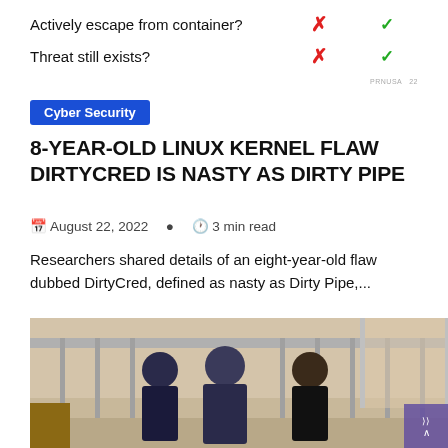|  |  |  |
| --- | --- | --- |
| Actively escape from container? | ✗ | ✓ |
| Threat still exists? | ✗ | ✓ |
PRNUSA 22
Cyber Security
8-YEAR-OLD LINUX KERNEL FLAW DIRTYCRED IS NASTY AS DIRTY PIPE
August 22, 2022  3 min read
Researchers shared details of an eight-year-old flaw dubbed DirtyCred, defined as nasty as Dirty Pipe,...
[Figure (photo): Photo of three men in what appears to be a courtroom with metal bars/cage in background. Two men in suits speak with a third man in a black shirt behind bars.]